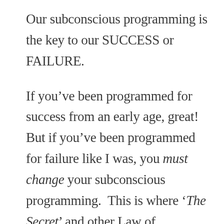Our subconscious programming is the key to our SUCCESS or FAILURE.
If you've been programmed for success from an early age, great!  But if you've been programmed for failure like I was, you must change your subconscious programming.  This is where 'The Secret' and other Law of Attraction material failed us; they didn't mention our subconscious programming. The black